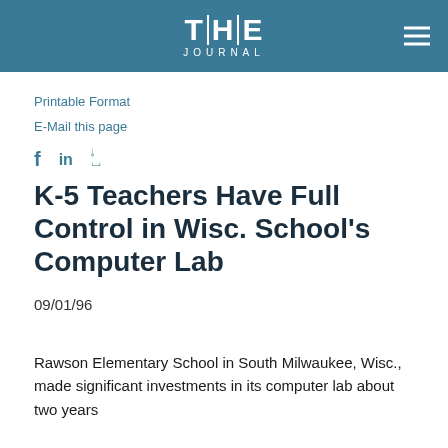THE JOURNAL
Printable Format
E-Mail this page
K-5 Teachers Have Full Control in Wisc. School's Computer Lab
09/01/96
Rawson Elementary School in South Milwaukee, Wisc., made significant investments in its computer lab about two years